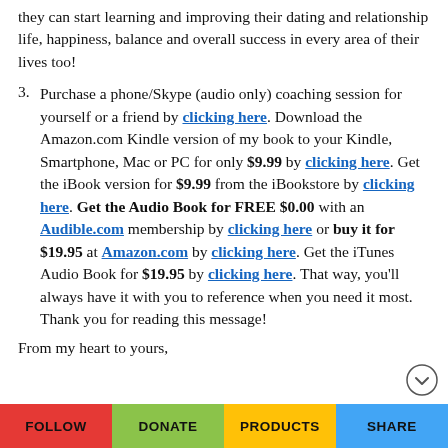they can start learning and improving their dating and relationship life, happiness, balance and overall success in every area of their lives too!
3. Purchase a phone/Skype (audio only) coaching session for yourself or a friend by clicking here. Download the Amazon.com Kindle version of my book to your Kindle, Smartphone, Mac or PC for only $9.99 by clicking here. Get the iBook version for $9.99 from the iBookstore by clicking here. Get the Audio Book for FREE $0.00 with an Audible.com membership by clicking here or buy it for $19.95 at Amazon.com by clicking here. Get the iTunes Audio Book for $19.95 by clicking here. That way, you'll always have it with you to reference when you need it most. Thank you for reading this message!
From my heart to yours,
FOLLOW   DONATE   PRODUCTS   SHARE